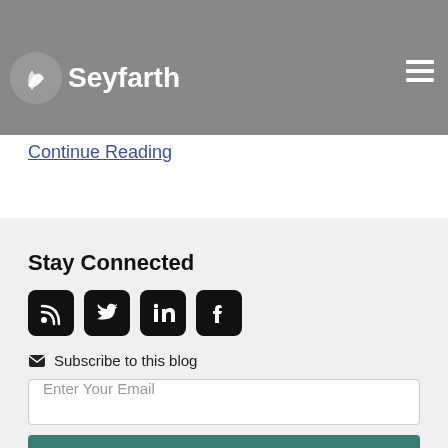Seyfarth
without resolving whether plaintiff has introduced admissible evidence, including expert testimony, to show that the case is susceptible to awarding damages on…
Continue Reading
Stay Connected
[Figure (infographic): Social media icons: RSS feed, Twitter, LinkedIn, Facebook — black rounded square icons]
Subscribe to this blog
Enter Your Email
SUBSCRIBE